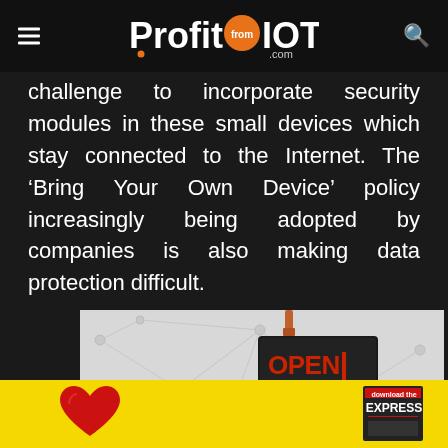ProfitfromIOT.com
challenge to incorporate security modules in these small devices which stay connected to the Internet. The ‘Bring Your Own Device’ policy increasingly being adopted by companies is also making data protection difficult.
[Figure (photo): Conference badge for Open Source India event showing an ATTENDEE badge with a lanyard, network-themed background with connected nodes and lines]
[Figure (photo): Yellow advertisement banner with a red heart graphic and an Express magazine cover on the right side]